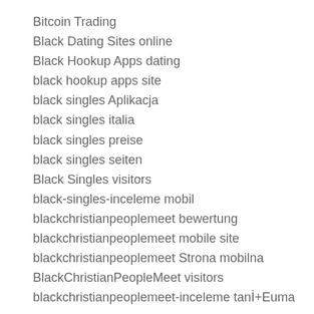Bitcoin Trading
Black Dating Sites online
Black Hookup Apps dating
black hookup apps site
black singles Aplikacja
black singles italia
black singles preise
black singles seiten
Black Singles visitors
black-singles-inceleme mobil
blackchristianpeoplemeet bewertung
blackchristianpeoplemeet mobile site
blackchristianpeoplemeet Strona mobilna
BlackChristianPeopleMeet visitors
blackchristianpeoplemeet-inceleme tanİ+Euma